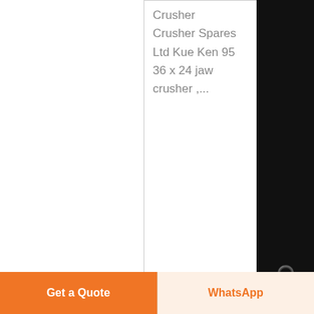Crusher
Crusher Spares Ltd Kue Ken 95 36 x 24 jaw crusher ,...
Know More
[Figure (photo): Dark industrial image showing large industrial machinery, likely a crusher or mill, with scaffolding and structures visible in a dark environment.]
brown lenox crusher spares - hechtbierch
30-01-2021·
Chat
E-mail
Top
Get a Quote
WhatsApp